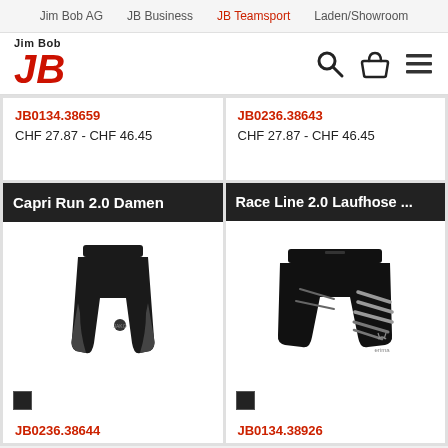Jim Bob AG   JB Business   JB Teamsport   Laden/Showroom
[Figure (logo): Jim Bob JB logo with red italic JB letters]
JB0134.38659
CHF 27.87 - CHF 46.45
JB0236.38643
CHF 27.87 - CHF 46.45
[Figure (photo): Capri Run 2.0 Damen - black capri running tights product photo]
[Figure (photo): Race Line 2.0 Laufhose - black running shorts with grey stripe pattern product photo]
JB0236.38644
JB0134.38926